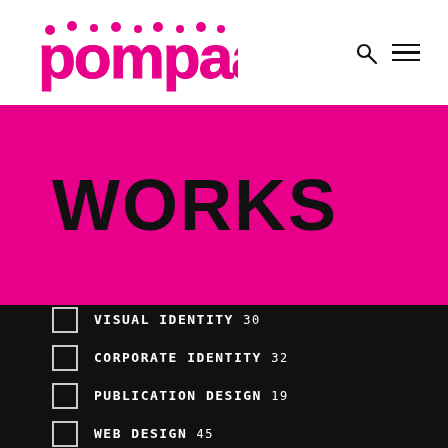[Figure (logo): Pompaa logo in pink bubbly/graffiti-style lettering]
WORKS
VISUAL IDENTITY 30
CORPORATE IDENTITY 32
PUBLICATION DESIGN 19
WEB DESIGN 45